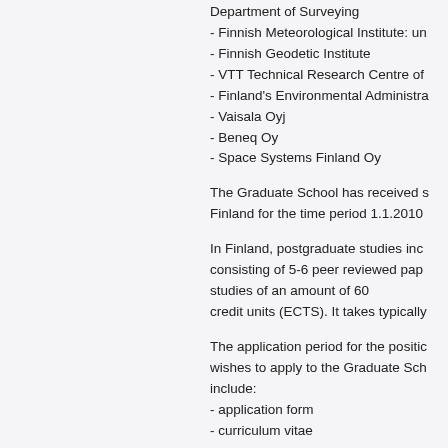Department of Surveying
- Finnish Meteorological Institute: un
- Finnish Geodetic Institute
- VTT Technical Research Centre of
- Finland's Environmental Administra
- Vaisala Oyj
- Beneq Oy
- Space Systems Finland Oy
The Graduate School has received s Finland for the time period 1.1.2010
In Finland, postgraduate studies inc consisting of 5-6 peer reviewed pap studies of an amount of 60 credit units (ECTS). It takes typically
The application period for the positic wishes to apply to the Graduate Sch include:
- application form
- curriculum vitae